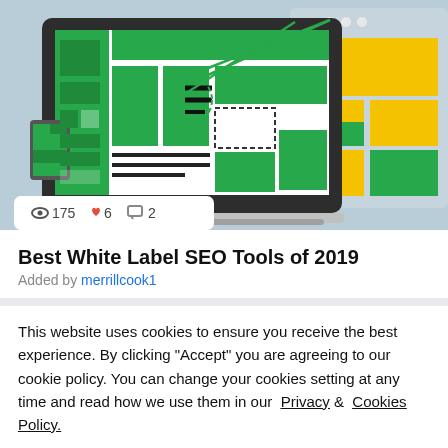[Figure (illustration): Illustration showing a laptop/monitor with a webpage layout, green and yellow UI blocks, dashed selection boxes, green arrows pointing at elements, and a mobile device. Stats bar overlay showing 175 views, 6 likes, 2 comments.]
Best White Label SEO Tools of 2019
Added by merrillcook1
This website uses cookies to ensure you receive the best experience. By clicking "Accept" you are agreeing to our cookie policy. You can change your cookies setting at any time and read how we use them in our Privacy & Cookies Policy.